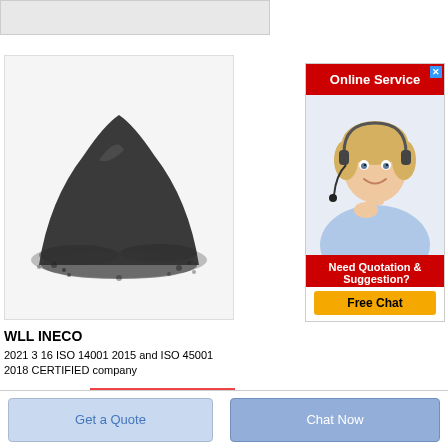[Figure (photo): Gray/black powder heap on light background — product image for WLL INECO]
WLL INECO
2021 3 16 ISO 14001 2015 and ISO 45001 2018 CERTIFIED company
[Figure (screenshot): Online Service advertisement panel with red header, customer service agent photo, 'Need Quotation & Suggestion? Free Chat' button]
Get Price
Get a Quote
Chat Now